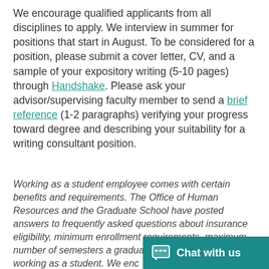We encourage qualified applicants from all disciplines to apply. We interview in summer for positions that start in August. To be considered for a position, please submit a cover letter, CV, and a sample of your expository writing (5-10 pages) through Handshake. Please ask your advisor/supervising faculty member to send a brief reference (1-2 paragraphs) verifying your progress toward degree and describing your suitability for a writing consultant position.
Working as a student employee comes with certain benefits and requirements. The Office of Human Resources and the Graduate School have posted answers to frequently asked questions about insurance eligibility, minimum enrollment requirements, maximum number of semesters a graduate student can work, and other information pertinent to working as a student. We encourage you to read more information about academic employment.
[Figure (other): Teal chat widget button in bottom-right corner with speech bubble icon and text 'Chat with us']